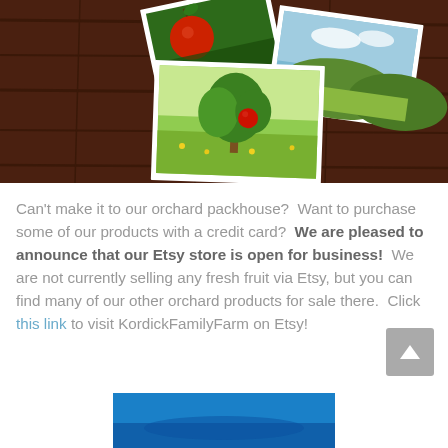[Figure (photo): Three photo prints/cards with orchard and nature scenes laid on a dark wooden surface. One shows a red apple on a branch, one shows a green landscape, and one shows an orchard tree with a red apple.]
Can't make it to our orchard packhouse?  Want to purchase some of our products with a credit card?  We are pleased to announce that our Etsy store is open for business!  We are not currently selling any fresh fruit via Etsy, but you can find many of our other orchard products for sale there.  Click this link to visit KordickFamilyFarm on Etsy!
[Figure (photo): Partial view of a photo at the bottom of the page showing a blue sky scene, partially cut off.]